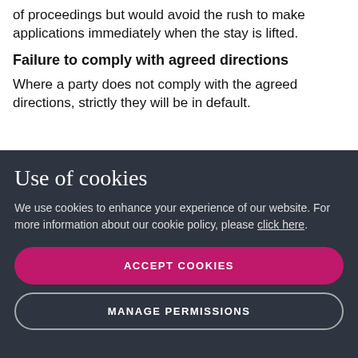of proceedings but would avoid the rush to make applications immediately when the stay is lifted.
Failure to comply with agreed directions
Where a party does not comply with the agreed directions, strictly they will be in default.
Use of cookies
We use cookies to enhance your experience of our website. For more information about our cookie policy, please click here.
ACCEPT COOKIES
MANAGE PERMISSIONS